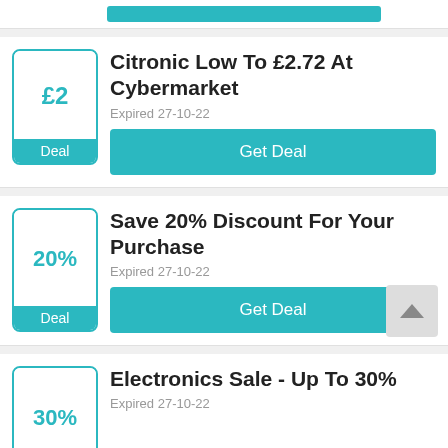[Figure (screenshot): Partial top of a deal card showing a teal Get Deal button strip]
Citronic Low To £2.72 At Cybermarket
Expired 27-10-22
Get Deal
Save 20% Discount For Your Purchase
Expired 27-10-22
Get Deal
Electronics Sale - Up To 30%
Expired 27-10-22